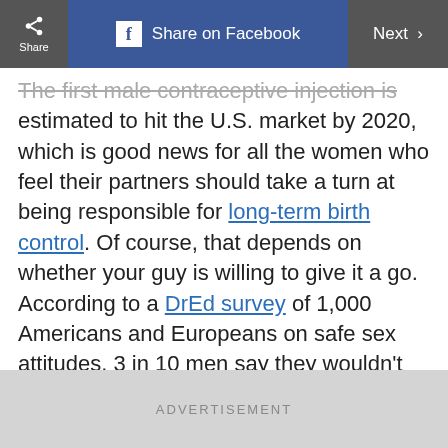Share | Share on Facebook | Next >
The first male contraceptive injection is estimated to hit the U.S. market by 2020, which is good news for all the women who feel their partners should take a turn at being responsible for long-term birth control. Of course, that depends on whether your guy is willing to give it a go. According to a DrEd survey of 1,000 Americans and Europeans on safe sex attitudes, 3 in 10 men say they wouldn't take birth control because of side effects like weight gain, mood swings, low energy, and blood clots.
ADVERTISEMENT